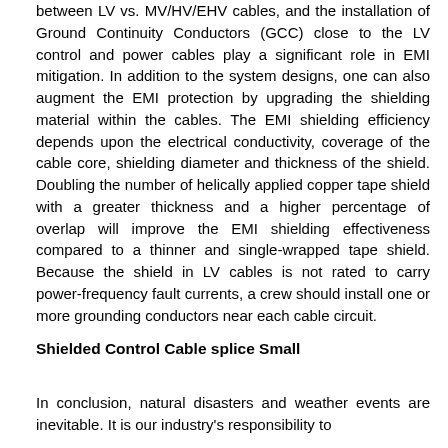between LV vs. MV/HV/EHV cables, and the installation of Ground Continuity Conductors (GCC) close to the LV control and power cables play a significant role in EMI mitigation. In addition to the system designs, one can also augment the EMI protection by upgrading the shielding material within the cables. The EMI shielding efficiency depends upon the electrical conductivity, coverage of the cable core, shielding diameter and thickness of the shield. Doubling the number of helically applied copper tape shield with a greater thickness and a higher percentage of overlap will improve the EMI shielding effectiveness compared to a thinner and single-wrapped tape shield. Because the shield in LV cables is not rated to carry power-frequency fault currents, a crew should install one or more grounding conductors near each cable circuit.
Shielded Control Cable splice Small
In conclusion, natural disasters and weather events are inevitable. It is our industry's responsibility to